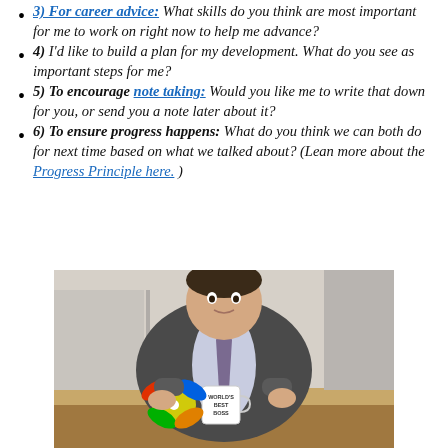3) For career advice: What skills do you think are most important for me to work on right now to help me advance?
4) I'd like to build a plan for my development. What do you see as important steps for me?
5) To encourage note taking: Would you like me to write that down for you, or send you a note later about it?
6) To ensure progress happens: What do you think we can both do for next time based on what we talked about? (Lean more about the Progress Principle here. )
[Figure (photo): A man in a grey suit and purple tie sits behind a desk holding a mug that reads 'World's Best Boss', with a colorful pinwheel toy on the desk in front of him.]